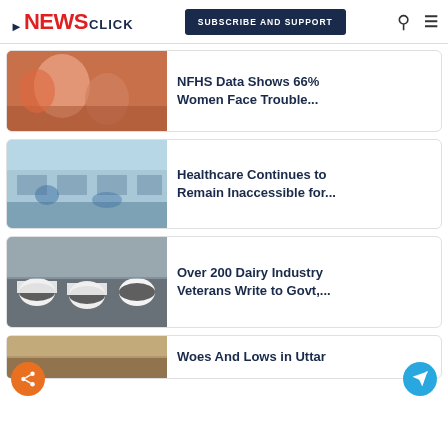NewsClick — SUBSCRIBE AND SUPPORT
[Figure (photo): Women in colorful traditional dress, smiling]
NFHS Data Shows 66% Women Face Trouble...
[Figure (photo): Hospital ward with patients on beds]
Healthcare Continues to Remain Inaccessible for...
[Figure (photo): Dairy cows in a milking facility]
Over 200 Dairy Industry Veterans Write to Govt,...
[Figure (photo): Partial image of rural landscape]
Woes And Lows in Uttar